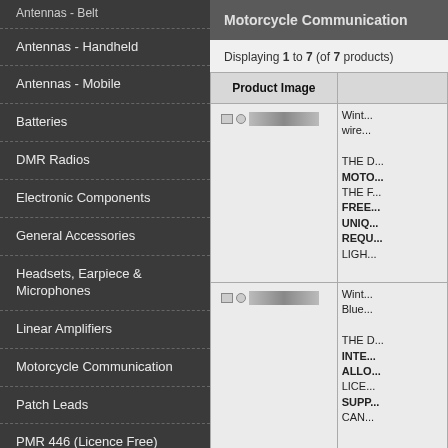Antennas - Belt
Antennas - Handheld
Antennas - Mobile
Batteries
DMR Radios
Electronic Components
General Accessories
Headsets, Earpiece & Microphones
Linear Amplifiers
Motorcycle Communication
Patch Leads
PMR 446 (Licence Free) Radio
PMR Business Radio
Power Leads, Chargers & Cradles
Power Supplies
Motorcycle Communication
Displaying 1 to 7 (of 7 products)
| Product Image |  |
| --- | --- |
| [product image 1] | Wint... wire...
THE M... MOTO... THE F... FREE... UNIQ... REQU... LIGH... |
| [product image 2] | Wint... Blue...
THE M... INTE... ALLO... LICE... SUPP... CAN... |